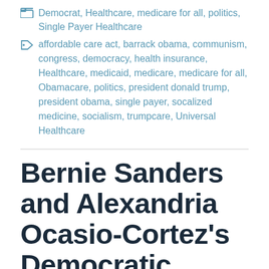Democrat, Healthcare, medicare for all, politics, Single Payer Healthcare
affordable care act, barrack obama, communism, congress, democracy, health insurance, Healthcare, medicaid, medicare, medicare for all, Obamacare, politics, president donald trump, president obama, single payer, socalized medicine, socialism, trumpcare, Universal Healthcare
Bernie Sanders and Alexandria Ocasio-Cortez's Democratic Socialism vs. Trump's Crony Capitalism!